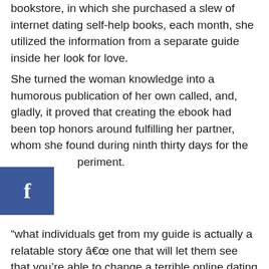bookstore, in which she purchased a slew of internet dating self-help books, each month, she utilized the information from a separate guide inside her look for love.
She turned the woman knowledge into a humorous publication of her own called, and, gladly, it proved that creating the ebook had been top honors around fulfilling her partner, whom she found during ninth thirty days for the experiment.
[Figure (logo): Facebook 'f' logo badge in blue square]
“what individuals get from my guide is actually a relatable story â one that will let them see that you're able to change a terrible online dating existence around,” says Showfety, that has been hitched for per year and is now a mommy to newborn daughter Avery. “It was totally unstable for me that i might be internet dating outstanding guy and obtaining hitched 24 months once I had written the book as the means my matchmaking life had been heading was not